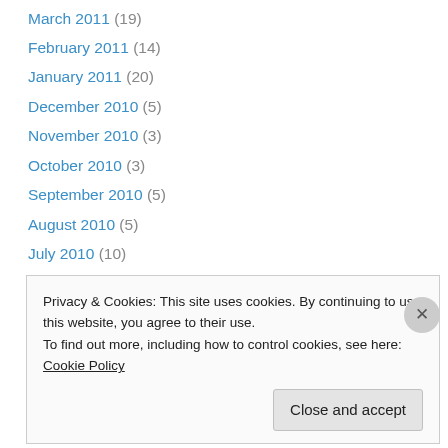March 2011 (19)
February 2011 (14)
January 2011 (20)
December 2010 (5)
November 2010 (3)
October 2010 (3)
September 2010 (5)
August 2010 (5)
July 2010 (10)
June 2010 (7)
May 2010 (11)
April 2010 (9)
March 2010 (10)
Privacy & Cookies: This site uses cookies. By continuing to use this website, you agree to their use.
To find out more, including how to control cookies, see here: Cookie Policy
Close and accept